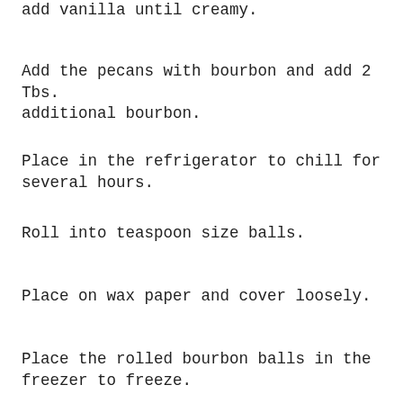add vanilla until creamy.
Add the pecans with bourbon and add 2 Tbs. additional bourbon.
Place in the refrigerator to chill for several hours.
Roll into teaspoon size balls.
Place on wax paper and cover loosely.
Place the rolled bourbon balls in the freezer to freeze.